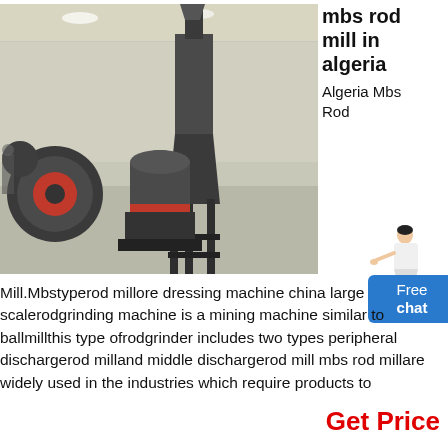[Figure (photo): Industrial rod mill machinery in a large warehouse/factory showroom. Several large grinding machines and industrial equipment visible. Chinese banners on the wall. The machines are dark grey/black metal with red components.]
mbs rod mill in algeria
Algeria Mbs Rod
[Figure (illustration): Small illustration of a woman in business attire pointing, overlapping a blue 'Free chat' button]
Mill.Mbstyperod millore dressing machine china large scalerodgrinding machine is a mining machine similar to ballmillthis type ofrodgrinder includes two types peripheral dischargerod milland middle dischargerod mill mbs rod millare widely used in the industries which require products to
Get Price